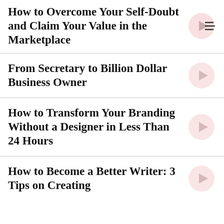How to Overcome Your Self-Doubt and Claim Your Value in the Marketplace
From Secretary to Billion Dollar Business Owner
How to Transform Your Branding Without a Designer in Less Than 24 Hours
How to Become a Better Writer: 3 Tips on Creating